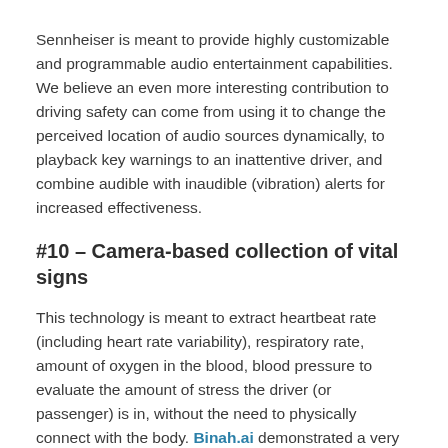Sennheiser is meant to provide highly customizable and programmable audio entertainment capabilities. We believe an even more interesting contribution to driving safety can come from using it to change the perceived location of audio sources dynamically, to playback key warnings to an inattentive driver, and combine audible with inaudible (vibration) alerts for increased effectiveness.
#10 – Camera-based collection of vital signs
This technology is meant to extract heartbeat rate (including heart rate variability), respiratory rate, amount of oxygen in the blood, blood pressure to evaluate the amount of stress the driver (or passenger) is in, without the need to physically connect with the body. Binah.ai demonstrated a very convincing mobile app that extracted the information in a few seconds (heart rate) to